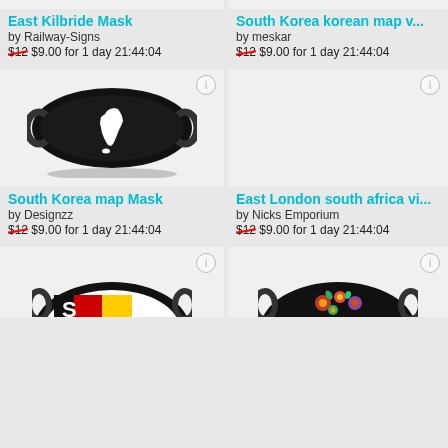East Kilbride Mask
by Railway-Signs
$12 $9.00 for 1 day 21:44:04
South Korea korean map v...
by meskar
$12 $9.00 for 1 day 21:44:04
[Figure (photo): Black face mask with white outline of South Korea map]
[Figure (photo): Gray placeholder product image area]
South Korea map Mask
by Designzz
$12 $9.00 for 1 day 21:44:04
East London south africa vi...
by Nicks Emporium
$12 $9.00 for 1 day 21:44:04
[Figure (photo): Partial face mask with red/yellow/black design - bottom cut off]
[Figure (photo): Partial black face mask with floral embroidery - bottom cut off]